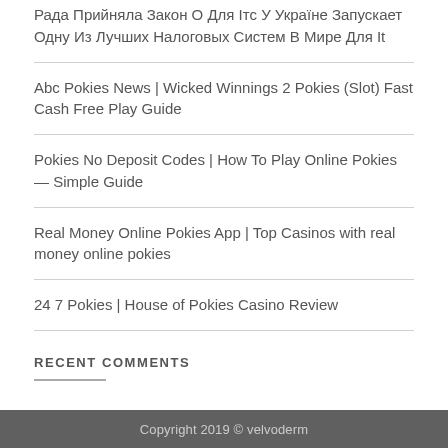Рада Прийняла Закон О Для Ітс У Україне Запускает Одну Из Лучших Налоговых Систем В Мире Для It
Abc Pokies News | Wicked Winnings 2 Pokies (Slot) Fast Cash Free Play Guide
Pokies No Deposit Codes | How To Play Online Pokies — Simple Guide
Real Money Online Pokies App | Top Casinos with real money online pokies
24 7 Pokies | House of Pokies Casino Review
RECENT COMMENTS
Copyright 2019 © velvoderm